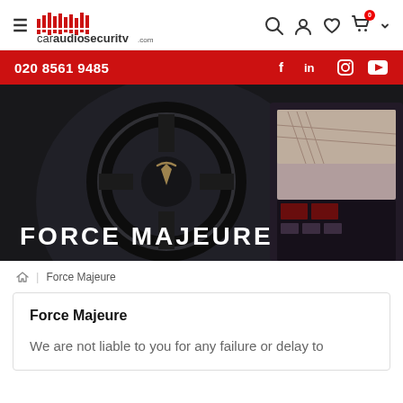caraudiosecurity.com — navigation bar with logo, hamburger menu, search, account, wishlist, cart icons
020 8561 9485
[Figure (photo): Tesla interior showing steering wheel with Tesla logo and large touchscreen, dark hero image with 'FORCE MAJEURE' text overlay]
FORCE MAJEURE
Home | Force Majeure breadcrumb
Force Majeure
We are not liable to you for any failure or delay to